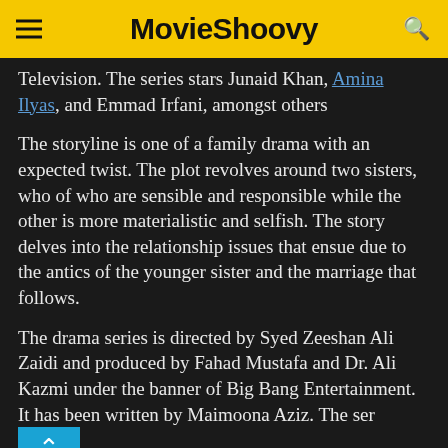MovieShoovy
Television. The series stars Junaid Khan, Amina Ilyas, and Emmad Irfani, amongst others
The storyline is one of a family drama with an expected twist. The plot revolves around two sisters, who of who are sensible and responsible while the other is more materialistic and selfish. The story delves into the relationship issues that ensue due to the antics of the younger sister and the marriage that follows.
The drama series is directed by Syed Zeeshan Ali Zaidi and produced by Fahad Mustafa and Dr. Ali Kazmi under the banner of Big Bang Entertainment. It has been written by Maimoona Aziz. The series will premiere on Tuesday 10th August at 8 pm on Express Entertainment.